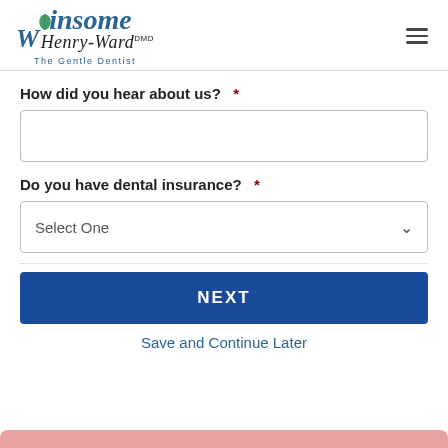[Figure (logo): Winsome Henry-Ward DMD The Gentle Dentist logo with tooth icon]
How did you hear about us?  *
Do you have dental insurance?  *
Select One
NEXT
Save and Continue Later